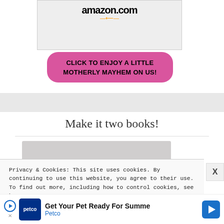[Figure (screenshot): Amazon.com product image area with logo and smile graphic]
[Figure (illustration): Pink rounded button with text: CLICK TO ENJOY A LITTLE MOTHERLY MAYHEM ON US!]
Make it two books!
[Figure (photo): Partial book cover image, light gray background]
Privacy & Cookies: This site uses cookies. By continuing to use this website, you agree to their use.
To find out more, including how to control cookies, see here: Cookie Policy
[Figure (screenshot): Petco advertisement banner: Get Your Pet Ready For Summe - Petco]